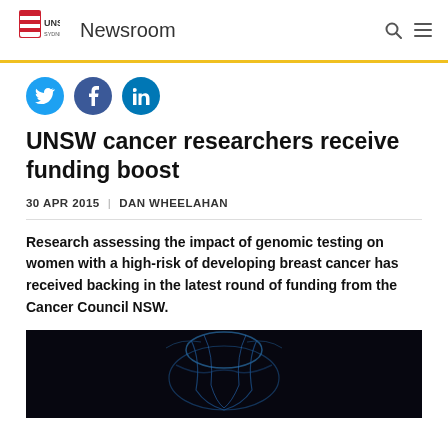UNSW Sydney Newsroom
[Figure (logo): UNSW Sydney logo with crest and text, followed by 'Newsroom' heading and search/menu icons]
[Figure (infographic): Three circular social media icon buttons: Twitter (blue bird), Facebook (blue f), LinkedIn (blue in)]
UNSW cancer researchers receive funding boost
30 APR 2015  |  DAN WHEELAHAN
Research assessing the impact of genomic testing on women with a high-risk of developing breast cancer has received backing in the latest round of funding from the Cancer Council NSW.
[Figure (photo): Dark/black background image with a blue glowing anatomical illustration of a human torso/breast area]